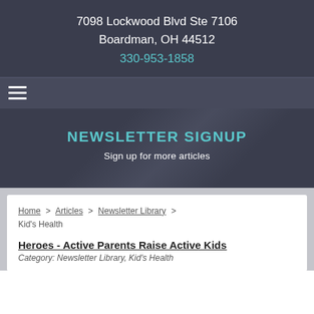7098 Lockwood Blvd Ste 7106
Boardman, OH 44512
330-953-1858
NEWSLETTER SIGNUP
Sign up for more articles
Home > Articles > Newsletter Library > Kid's Health
Heroes - Active Parents Raise Active Kids
Category: Newsletter Library, Kid's Health